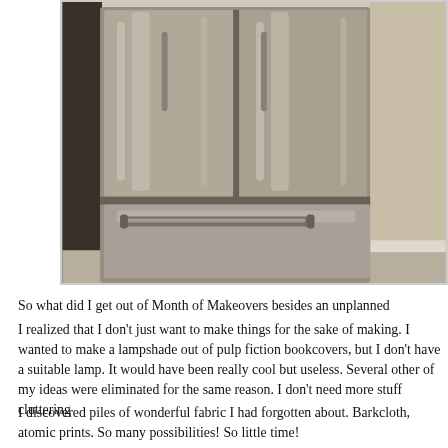[Figure (photo): A stainless steel French door refrigerator with bottom freezer drawer, photographed in a kitchen setting with beige walls. The fridge has two upper doors and a lower freezer drawer with a horizontal bar handle.]
So what did I get out of Month of Makeovers besides an unplanned
I realized that I don't just want to make things for the sake of making. I wanted to make a lampshade out of pulp fiction bookcovers, but I don't have a suitable lamp. It would have been really cool but useless. Several other of my ideas were eliminated for the same reason. I don't need more stuff cluttering
I discovered piles of wonderful fabric I had forgotten about. Barkcloth, atomic prints. So many possibilities! So little time!